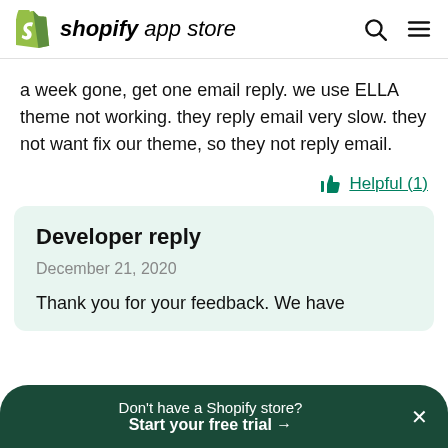shopify app store
a week gone, get one email reply. we use ELLA theme not working. they reply email very slow. they not want fix our theme, so they not reply email.
Helpful (1)
Developer reply
December 21, 2020
Thank you for your feedback. We have
Don't have a Shopify store? Start your free trial →